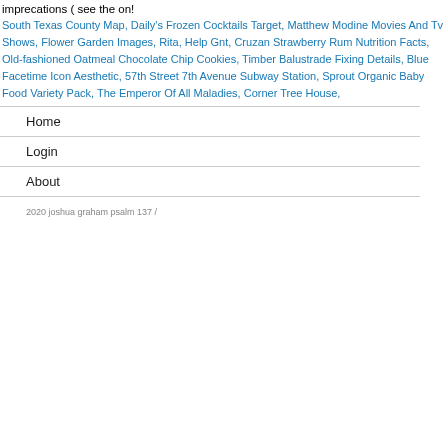imprecations ( see the on!
South Texas County Map, Daily's Frozen Cocktails Target, Matthew Modine Movies And Tv Shows, Flower Garden Images, Rita, Help Gnt, Cruzan Strawberry Rum Nutrition Facts, Old-fashioned Oatmeal Chocolate Chip Cookies, Timber Balustrade Fixing Details, Blue Facetime Icon Aesthetic, 57th Street 7th Avenue Subway Station, Sprout Organic Baby Food Variety Pack, The Emperor Of All Maladies, Corner Tree House,
Home
Login
About
2020 joshua graham psalm 137  /